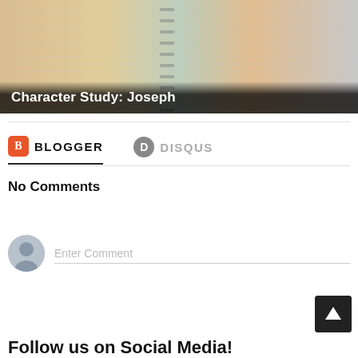[Figure (photo): Notebook pages with handwritten Bible study notes about Joseph, with a map, shown with dark gradient overlay at bottom. Caption reads 'Character Study: Joseph'.]
Character Study: Joseph
BLOGGER
DISQUS
No Comments
Enter Comment
Follow us on Social Media!